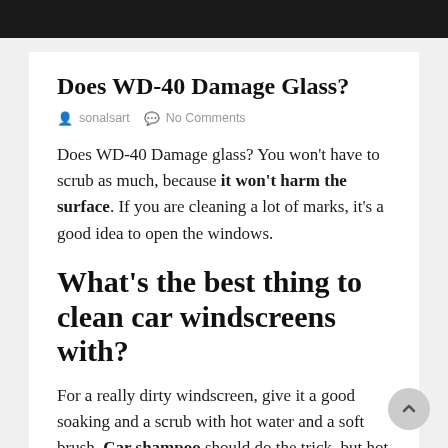Does WD-40 Damage Glass?
sonalsart   No Comments
Does WD-40 Damage glass? You won't have to scrub as much, because it won't harm the surface. If you are cleaning a lot of marks, it's a good idea to open the windows.
What's the best thing to clean car windscreens with?
For a really dirty windscreen, give it a good soaking and a scrub with hot water and a soft brush. Car shampoo should do the trick, but hot water is usually more than